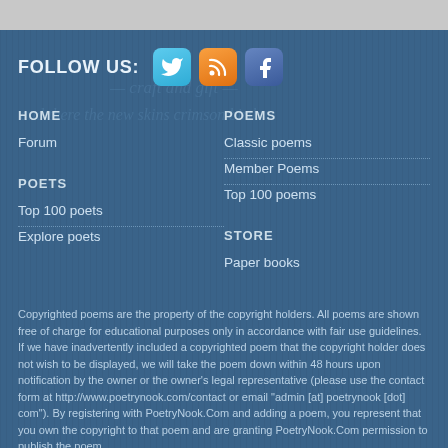FOLLOW US:
HOME
POEMS
Forum
Classic poems
Member Poems
Top 100 poems
POETS
STORE
Top 100 poets
Paper books
Explore poets
Copyrighted poems are the property of the copyright holders. All poems are shown free of charge for educational purposes only in accordance with fair use guidelines. If we have inadvertently included a copyrighted poem that the copyright holder does not wish to be displayed, we will take the poem down within 48 hours upon notification by the owner or the owner's legal representative (please use the contact form at http://www.poetrynook.com/contact or email "admin [at] poetrynook [dot] com"). By registering with PoetryNook.Com and adding a poem, you represent that you own the copyright to that poem and are granting PoetryNook.Com permission to publish the poem.